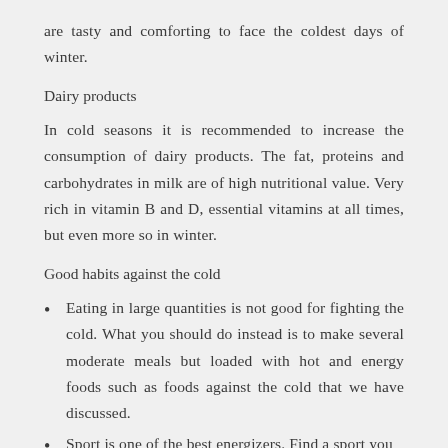are tasty and comforting to face the coldest days of winter.
Dairy products
In cold seasons it is recommended to increase the consumption of dairy products. The fat, proteins and carbohydrates in milk are of high nutritional value. Very rich in vitamin B and D, essential vitamins at all times, but even more so in winter.
Good habits against the cold
Eating in large quantities is not good for fighting the cold. What you should do instead is to make several moderate meals but loaded with hot and energy foods such as foods against the cold that we have discussed.
Sport is one of the best energizers. Find a sport you